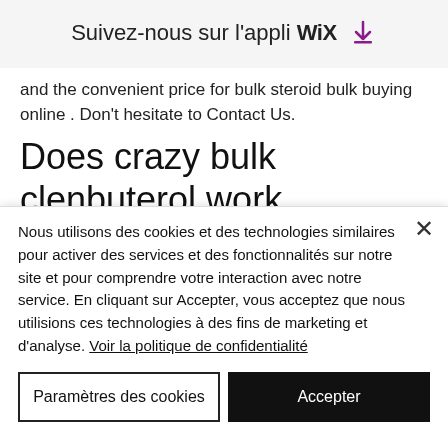Suivez-nous sur l'appli WiX [download icon]
and the convenient price for bulk steroid bulk buying online . Don't hesitate to Contact Us.
Does crazy bulk clenbuterol work
However, the Crazy Bulk Clenbuterol (the legal and powerful bodybuilding supplement) is not available at Walmartso you'll need to order it directly from BulkClen.ca,
Nous utilisons des cookies et des technologies similaires pour activer des services et des fonctionnalités sur notre site et pour comprendre votre interaction avec notre service. En cliquant sur Accepter, vous acceptez que nous utilisions ces technologies à des fins de marketing et d'analyse. Voir la politique de confidentialité
Paramètres des cookies
Accepter